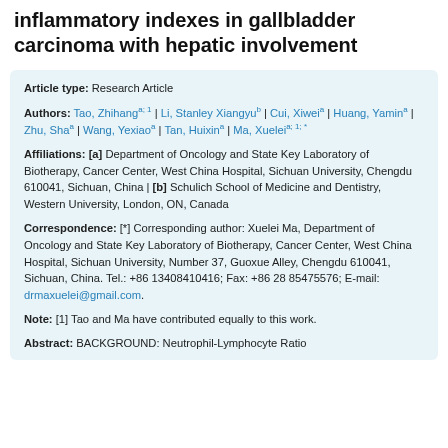inflammatory indexes in gallbladder carcinoma with hepatic involvement
Article type: Research Article
Authors: Tao, Zhihang a;1 | Li, Stanley Xiangyu b | Cui, Xiwei a | Huang, Yamin a | Zhu, Sha a | Wang, Yexiao a | Tan, Huixin a | Ma, Xuelei a;1;*
Affiliations: [a] Department of Oncology and State Key Laboratory of Biotherapy, Cancer Center, West China Hospital, Sichuan University, Chengdu 610041, Sichuan, China | [b] Schulich School of Medicine and Dentistry, Western University, London, ON, Canada
Correspondence: [*] Corresponding author: Xuelei Ma, Department of Oncology and State Key Laboratory of Biotherapy, Cancer Center, West China Hospital, Sichuan University, Number 37, Guoxue Alley, Chengdu 610041, Sichuan, China. Tel.: +86 13408410416; Fax: +86 28 85475576; E-mail: drmaxuelei@gmail.com.
Note: [1] Tao and Ma have contributed equally to this work.
Abstract: BACKGROUND: Neutrophil-Lymphocyte Ratio